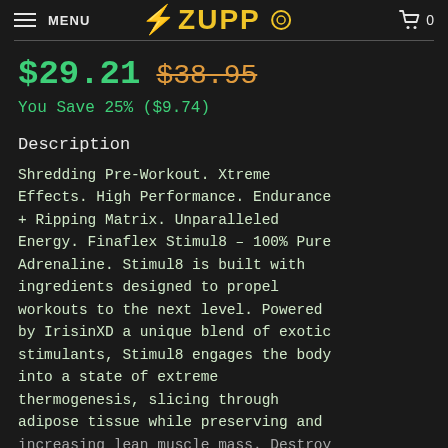MENU | ZUPP | 0
$29.21  $38.95
You Save 25% ($9.74)
Description
Shredding Pre-Workout. Xtreme Effects. High Performance. Endurance + Ripping Matrix. Unparalleled Energy. Finaflex Stimul8 – 100% Pure Adrenaline. Stimul8 is built with ingredients designed to propel workouts to the next level. Powered by IrisinXD a unique blend of exotic stimulants, Stimul8 engages the body into a state of extreme thermogenesis, slicing through adipose tissue while preserving and increasing lean muscle mass. Destroy